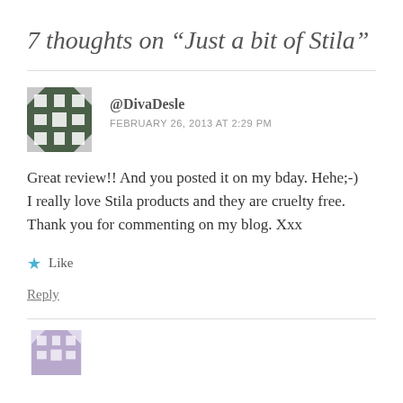7 thoughts on “Just a bit of Stila”
@DivaDesle
FEBRUARY 26, 2013 AT 2:29 PM
Great review!! And you posted it on my bday. Hehe;-) I really love Stila products and they are cruelty free. Thank you for commenting on my blog. Xxx
★ Like
Reply